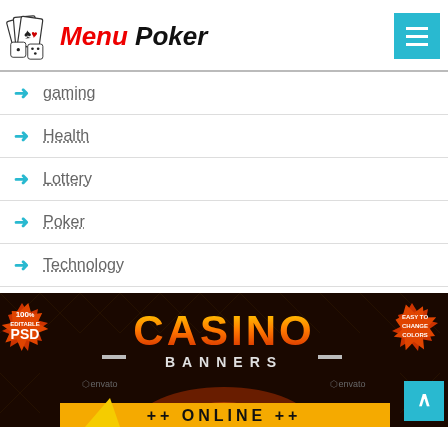Menu Poker
gaming
Health
Lottery
Poker
Technology
[Figure (illustration): Casino Banners advertisement with orange gradient CASINO text, BANNERS subtitle, 100% Editable PSD badge on left, Easy to Change Colors badge on right, two Envato watermarks, and back-to-top button]